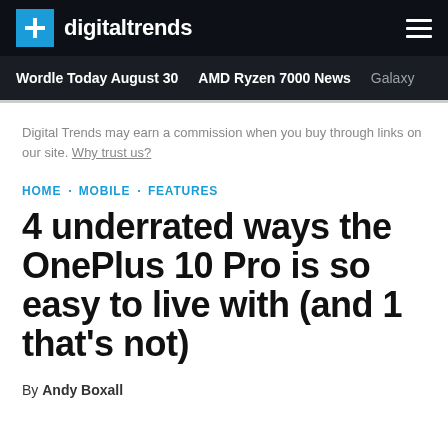digitaltrends
Wordle Today August 30 · AMD Ryzen 7000 News · Galaxy
Digital Trends may earn a commission when you buy through links on our site. Why trust us?
HOME · MOBILE · FEATURES
4 underrated ways the OnePlus 10 Pro is so easy to live with (and 1 that's not)
By Andy Boxall